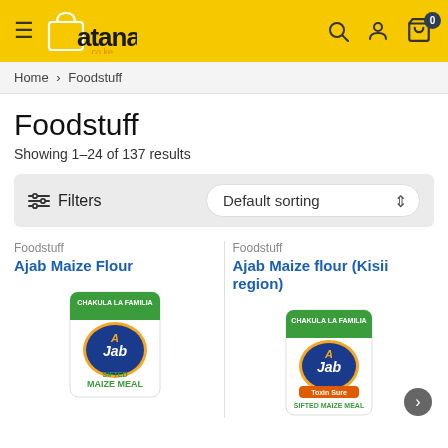atana.co.ke
Home > Foodstuff
Foodstuff
Showing 1–24 of 137 results
Filters  Default sorting
Foodstuff
Ajab Maize Flour
[Figure (photo): Ajab Maize Flour product bag — white bag with green top, Ajab yellow oval logo, 'Sifted Maize Meal' label]
Foodstuff
Ajab Maize flour (Kisii region)
[Figure (photo): Ajab Maize Flour (Kisii region) product bag — white bag with green top, Ajab yellow oval logo, 'Toxin Sure', 'Sifted Maize Meal' label]